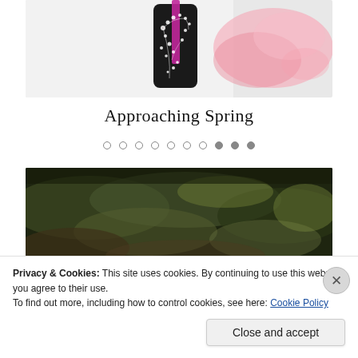[Figure (photo): A black Japanese-style bottle or flask with white cherry blossom decoration and a magenta/pink ribbon, set against a white background with a pink watercolor splash to the right.]
Approaching Spring
[Figure (other): Navigation dots row: 10 small circles, some filled, some outlined, used as a slideshow indicator.]
[Figure (photo): A dark, moody painting or photograph of a green and brown garden or pond scene, partially obscured by the cookie consent banner.]
Privacy & Cookies: This site uses cookies. By continuing to use this website, you agree to their use.
To find out more, including how to control cookies, see here: Cookie Policy
Close and accept